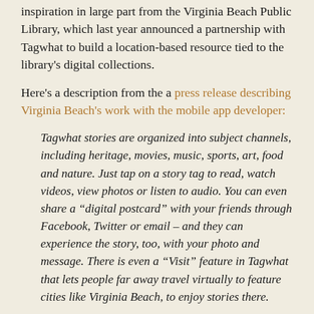inspiration in large part from the Virginia Beach Public Library, which last year announced a partnership with Tagwhat to build a location-based resource tied to the library's digital collections.
Here's a description from the a press release describing Virginia Beach's work with the mobile app developer:
Tagwhat stories are organized into subject channels, including heritage, movies, music, sports, art, food and nature. Just tap on a story tag to read, watch videos, view photos or listen to audio. You can even share a “digital postcard” with your friends through Facebook, Twitter or email – and they can experience the story, too, with your photo and message. There is even a “Visit” feature in Tagwhat that lets people far away travel virtually to feature cities like Virginia Beach, to enjoy stories there.